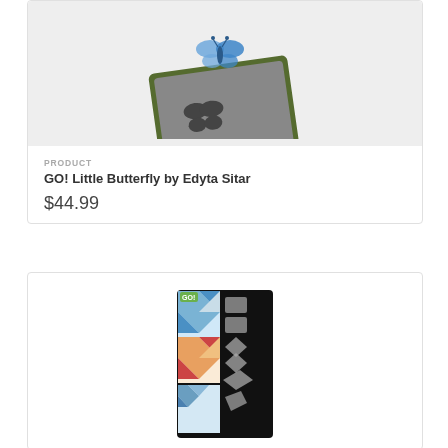[Figure (photo): Product photo of GO! Little Butterfly die-cutting tool by Edyta Sitar, showing a green and gray square cutting mat with butterfly shapes, with blue butterfly shapes floating above it.]
PRODUCT
GO! Little Butterfly by Edyta Sitar
$44.99
[Figure (photo): Product photo of a GO! quilting die set in packaging, showing a long black mat with several geometric shape cutters alongside printed quilt block pattern examples in blue and orange/red colors.]